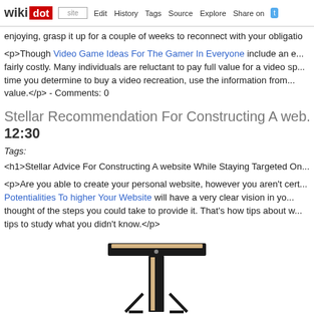wikidot | site Edit History Tags Source Explore Share on [Twitter]
enjoying, grasp it up for a couple of weeks to reconnect with your obligatio...
<p>Though Video Game Ideas For The Gamer In Everyone include an e... fairly costly. Many individuals are reluctant to pay full value for a video sp... time you determine to buy a video recreation, use the information from... value.</p> - Comments: 0
Stellar Recommendation For Constructing A web... 12:30
Tags:
<h1>Stellar Advice For Constructing A website While Staying Targeted On...
<p>Are you able to create your personal website, however you aren't cert... Potentialities To higher Your Website will have a very clear vision in yo... thought of the steps you could take to provide it. That's how tips about w... tips to study what you didn't know.</p>
[Figure (photo): A T-square or woodworking square tool with black metal and wood, showing the head and blade against a light background.]